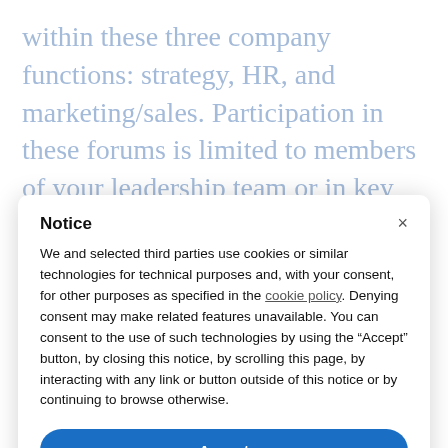within these three company functions: strategy, HR, and marketing/sales. Participation in these forums is limited to members of your leadership team or in key
Notice
We and selected third parties use cookies or similar technologies for technical purposes and, with your consent, for other purposes as specified in the cookie policy. Denying consent may make related features unavailable. You can consent to the use of such technologies by using the “Accept” button, by closing this notice, by scrolling this page, by interacting with any link or button outside of this notice or by continuing to browse otherwise.
Accept
Learn more and customize